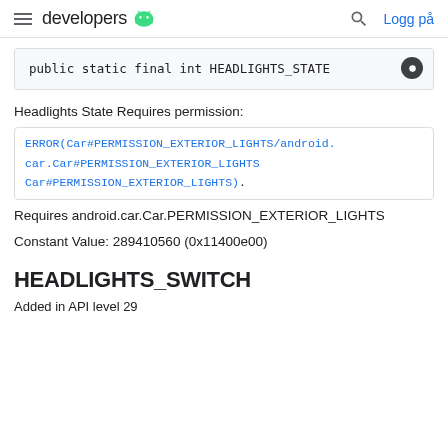developers
public static final int HEADLIGHTS_STATE
Headlights State Requires permission:
ERROR(Car#PERMISSION_EXTERIOR_LIGHTS/android.car.Car#PERMISSION_EXTERIOR_LIGHTS Car#PERMISSION_EXTERIOR_LIGHTS).
Requires android.car.Car.PERMISSION_EXTERIOR_LIGHTS
Constant Value: 289410560 (0x11400e00)
HEADLIGHTS_SWITCH
Added in API level 29